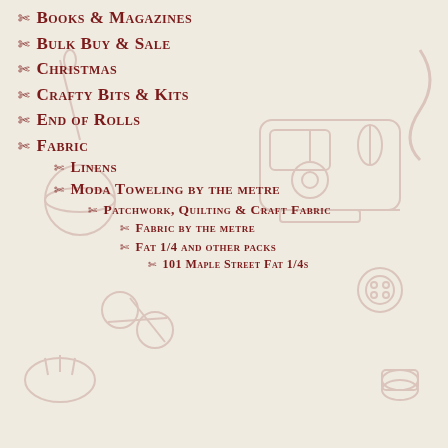Books & Magazines
Bulk Buy & Sale
Christmas
Crafty Bits & Kits
End of Rolls
Fabric
Linens
Moda Toweling by the metre
Patchwork, Quilting & Craft Fabric
Fabric by the metre
Fat 1/4 and other packs
101 Maple Street Fat 1/4s